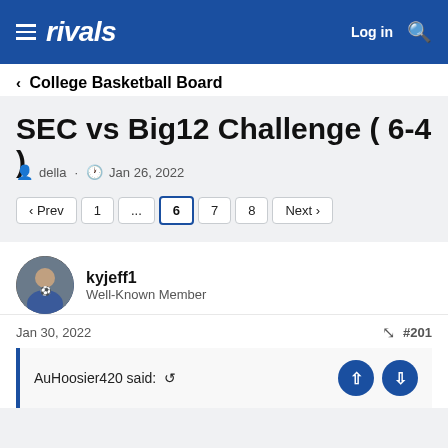rivals — Log in
< College Basketball Board
SEC vs Big12 Challenge ( 6-4 )
della · Jan 26, 2022
‹ Prev  1  ...  6  7  8  Next ›
kyjeff1
Well-Known Member
Jan 30, 2022  #201
AuHoosier420 said:  ↺